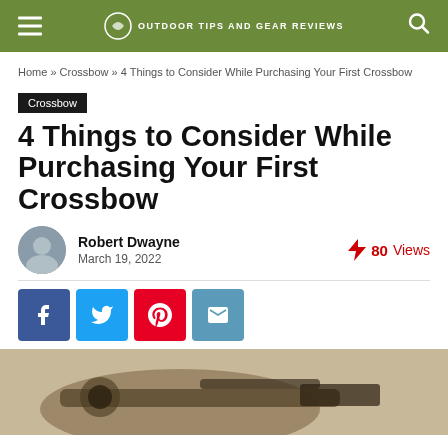OUTDOOR TIPS AND GEAR REVIEWS
Home » Crossbow » 4 Things to Consider While Purchasing Your First Crossbow
Crossbow
4 Things to Consider While Purchasing Your First Crossbow
Robert Dwayne
March 19, 2022
80 Views
[Figure (photo): Photo of a crossbow with scope, partially visible at bottom of page]